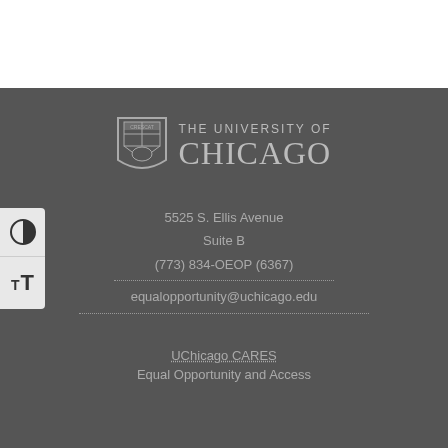[Figure (logo): University of Chicago shield logo with text THE UNIVERSITY OF CHICAGO]
5525 S. Ellis Avenue
Suite B
(773) 834-OEOP (6367)
equalopportunity@uchicago.edu
UChicago CARES
Equal Opportunity and Access